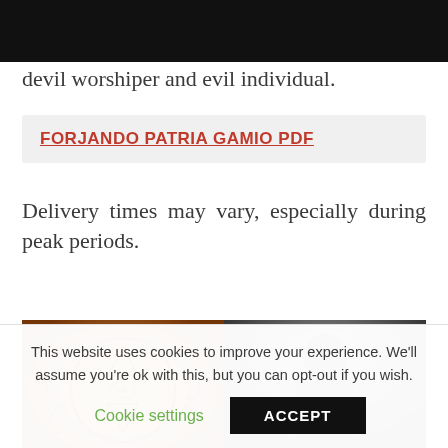devil worshiper and evil individual.
FORJANDO PATRIA GAMIO PDF
Delivery times may vary, especially during peak periods.
[Figure (photo): Two side-by-side images: left shows an ornate occult/mystical medallion design with a Star of David, eye symbol, and decorative scrollwork on aged parchment background; right shows a black and white photo of an elderly person in dark clothing.]
This website uses cookies to improve your experience. We'll assume you're ok with this, but you can opt-out if you wish.
Cookie settings
ACCEPT